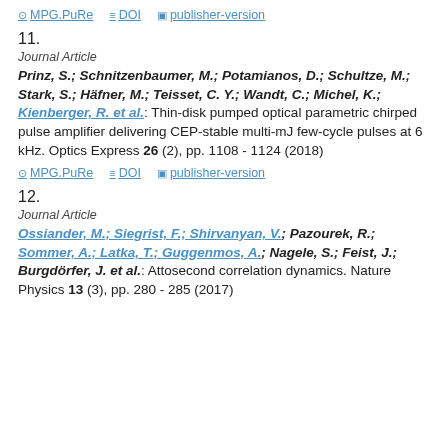MPG.PuRe  DOI  publisher-version
11.
Journal Article
Prinz, S.; Schnitzenbaumer, M.; Potamianos, D.; Schultze, M.; Stark, S.; Häfner, M.; Teisset, C. Y.; Wandt, C.; Michel, K.; Kienberger, R. et al.: Thin-disk pumped optical parametric chirped pulse amplifier delivering CEP-stable multi-mJ few-cycle pulses at 6 kHz. Optics Express 26 (2), pp. 1108 - 1124 (2018)
MPG.PuRe  DOI  publisher-version
12.
Journal Article
Ossiander, M.; Siegrist, F.; Shirvanyan, V.; Pazourek, R.; Sommer, A.; Latka, T.; Guggenmos, A.; Nagele, S.; Feist, J.; Burgdörfer, J. et al.: Attosecond correlation dynamics. Nature Physics 13 (3), pp. 280 - 285 (2017)